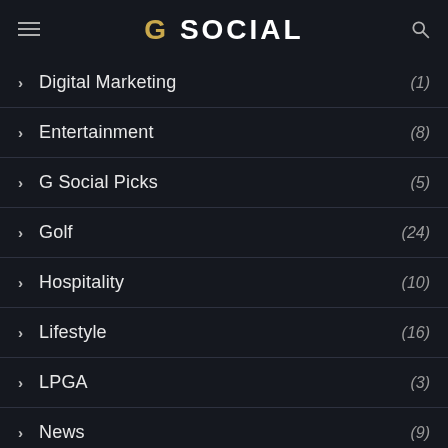G SOCIAL
Digital Marketing (1)
Entertainment (8)
G Social Picks (5)
Golf (24)
Hospitality (10)
Lifestyle (16)
LPGA (3)
News (9)
Stories